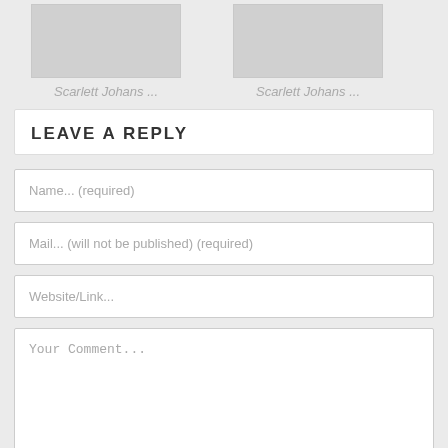[Figure (photo): Thumbnail image placeholder (gray box) with caption 'Scarlett Johans ...' in italic gray text]
Scarlett Johans ...
[Figure (photo): Thumbnail image placeholder (gray box) with caption 'Scarlett Johans ...' in italic gray text]
Scarlett Johans ...
LEAVE A REPLY
Name... (required)
Mail... (will not be published) (required)
Website/Link...
Your Comment...